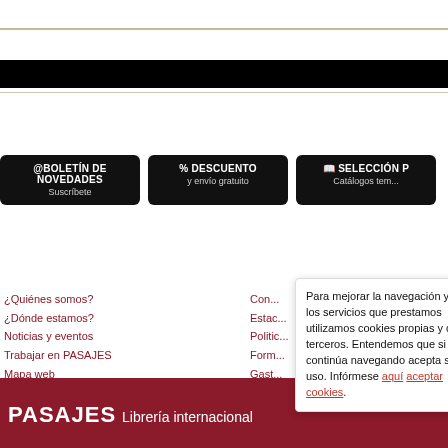PASAJES Librería internacional - navigation header
[Figure (screenshot): Black navigation bar across the page]
@BOLETÍN DE NOVEDADES - Suscríbete
% DESCUENTO y envío gratuito
SELECCIÓN P... Catálogos tem...
¿Quiénes somos?
¿Dónde estamos?
Noticias y eventos
Trabajar en PASAJES
Mapa web
Para mejorar la navegación y los servicios que prestamos utilizamos cookies propias y de terceros. Entendemos que si continúa navegando acepta su uso. Infórmese aquí aceptar cookies.
PASAJES Librería internacional